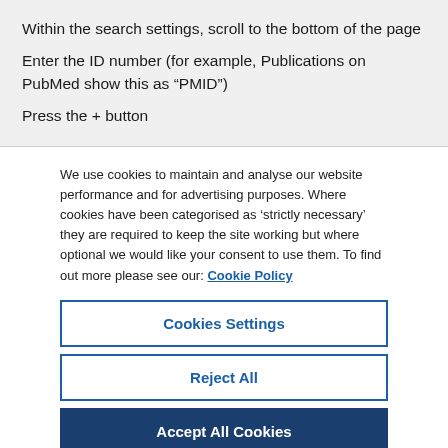Within the search settings, scroll to the bottom of the page
Enter the ID number (for example, Publications on PubMed show this as “PMID”)
Press the + button
We use cookies to maintain and analyse our website performance and for advertising purposes. Where cookies have been categorised as ‘strictly necessary’ they are required to keep the site working but where optional we would like your consent to use them. To find out more please see our: Cookie Policy
Cookies Settings
Reject All
Accept All Cookies